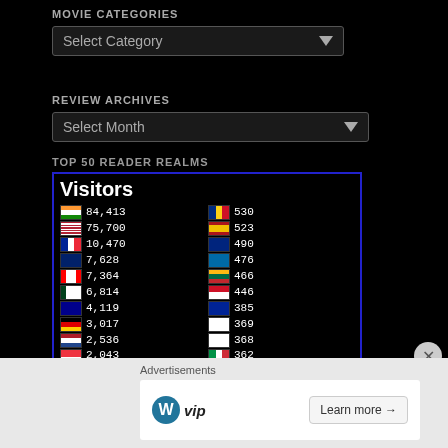MOVIE CATEGORIES
Select Category
REVIEW ARCHIVES
Select Month
TOP 50 READER REALMS
| Flag | Visitors | Flag | Visitors |
| --- | --- | --- | --- |
| India | 84,413 | Romania | 530 |
| USA | 75,700 | Spain | 523 |
| France | 10,470 | New Zealand | 490 |
| UK | 7,628 | Sweden | 476 |
| Canada | 7,364 | Lithuania | 466 |
| Pakistan | 6,814 | Indonesia | 446 |
| Australia | 4,119 | Bosnia | 385 |
| Germany | 3,017 | Finland | 369 |
| Netherlands | 2,536 | Japan | 368 |
| Singapore | 2,043 | Italy | 362 |
| Saudi Arabia | 1,603 | South Africa | 327 |
| Bahrain | 1,495 | Sri Lanka | 322 |
| China | 1,486 | Unknown | 317 |
Advertisements
[Figure (other): WordPress VIP advertisement banner with 'Learn more' button]